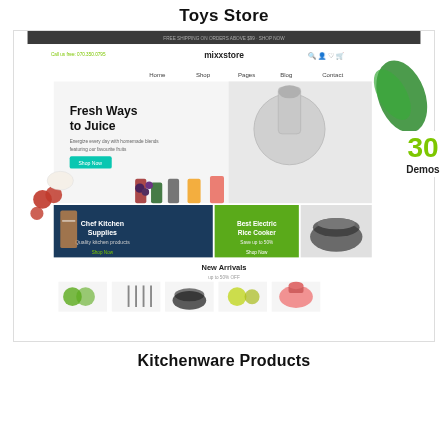Toys Store
[Figure (screenshot): Screenshot of mixxstore e-commerce website showing kitchenware/juicer products with 'Fresh Ways to Juice' hero banner, product categories for Chef Kitchen Supplies and Best Electric Rice Cooker, New Arrivals section with kitchen product images. A '30 Demos' badge is visible in the top-right corner.]
Kitchenware Products